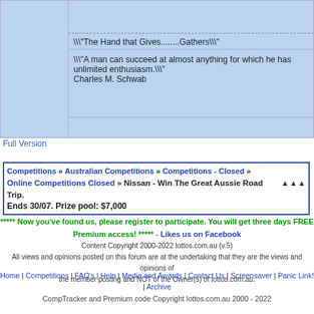|  | - - - - - - - - (dashed line) - - - - - - - - |
|  | \\"The Hand that Gives........Gathers\\" |
|  | \\"A man can succeed at almost anything for which he has unlimited enthusiasm.\\" Charles M. Schwab |
Full Version
Competitions » Australian Competitions » Competitions - Closed » Online Competitions Closed » Nissan - Win The Great Aussie Road Trip. Ends 30/07. Prize pool: $7,000
***** Now you've found us, please register to participate. You will get three days FREE Premium access! ***** - Likes us on Facebook
Content Copyright 2000-2022 lottos.com.au (v.5)
All views and opinions posted on this forum are at the undertaking that they are the views and opinions of the member posting and NOT of the Owner(s) of lottos.com.au.
Home | Competitions | FAQ's | Help | Media and Awards | Contact Us | Screensaver | Panic Link! | Archive
CompTracker and Premium code Copyright lottos.com.au 2000 - 2022